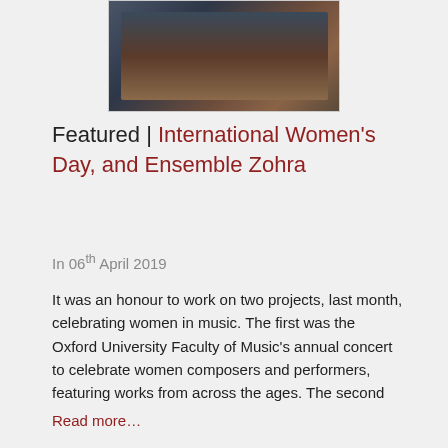[Figure (photo): A photograph of musicians or performers, partially visible at the top of the page, with dark tones suggesting traditional or formal attire.]
Featured | International Women's Day, and Ensemble Zohra
In 06th April 2019
It was an honour to work on two projects, last month, celebrating women in music.  The first was the Oxford University Faculty of Music's annual concert to celebrate women composers and performers, featuring works from across the ages.   The second
Read more…